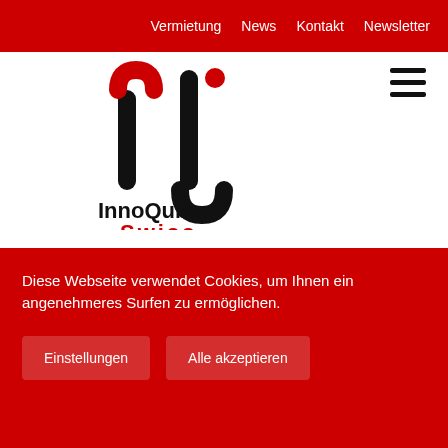Vermietung  News  Kontakt  Newsletter
[Figure (logo): InnoQube Swiss logo with stylized 'iq' letterform in black and red, company name below]
Franco
Diese Webseite verwendet Cookies, um Ihnen ein angenehmeres Surfen zu ermöglichen.
Einstellungen  Alle akzeptieren